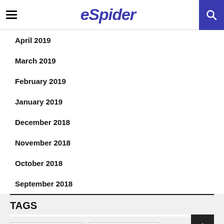eSpider
April 2019
March 2019
February 2019
January 2019
December 2018
November 2018
October 2018
September 2018
TAGS
#BEDWETTINGALARM (4)
#BEDWETTINGSTORE (4)
#BESTBEDWETTINGALARM (5)
#ENURESISALARM (4)